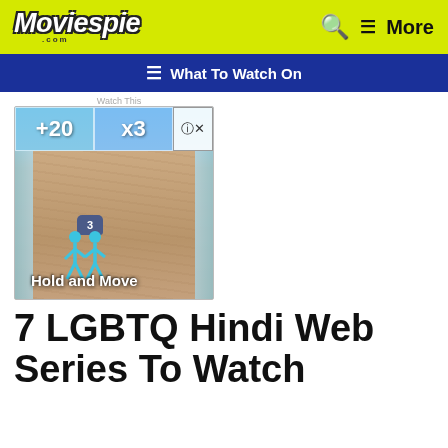Moviespie .com
≡ What To Watch On
Watch This
[Figure (screenshot): Mobile game advertisement showing a beach/sand lane game with +20 and x3 bonus buttons, characters labelled '3', and text 'Hold and Move']
7 LGBTQ Hindi Web Series To Watch